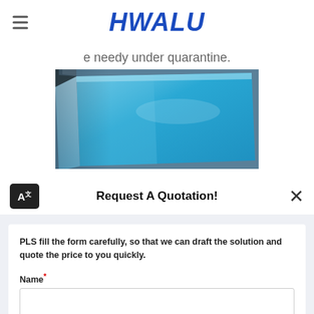HWALU
e needy under quarantine.
[Figure (photo): Blue aluminum sheet or coil being processed, viewed from above at an angle showing the bright blue surface and edges of the material.]
Request A Quotation!
PLS fill the form carefully, so that we can draft the solution and quote the price to you quickly.
Name*
E-mail*